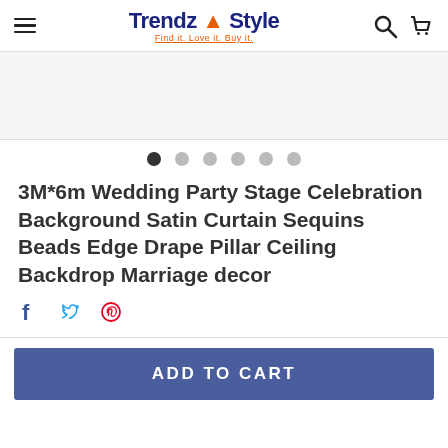Trendz & Style — Find it. Love it. Buy it.
[Figure (screenshot): Product image area (blank/light gray placeholder)]
• • • • • • (carousel dots, first active)
3M*6m Wedding Party Stage Celebration Background Satin Curtain Sequins Beads Edge Drape Pillar Ceiling Backdrop Marriage decor
Social share icons: Facebook, Twitter, Pinterest
ADD TO CART